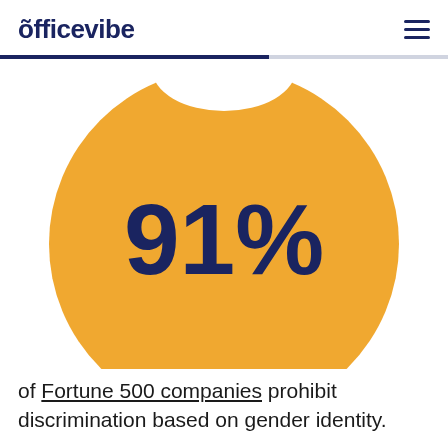õfficevibe
[Figure (infographic): Large orange circle with '91%' text in dark blue in the center, partially cropped at the top by a white arc cutout]
of Fortune 500 companies prohibit discrimination based on gender identity.